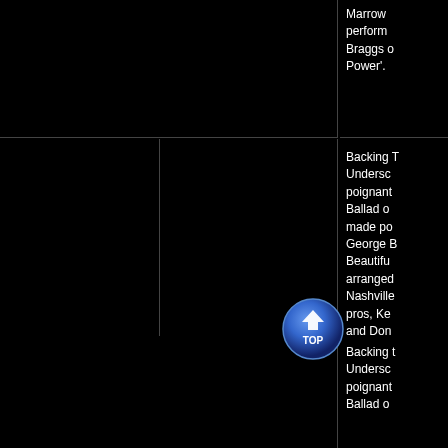Marrow performed Braggs o Power'.
NEW DAY (Backing Track w/BGVs)
Urban/R&B
Backing T Undersc poignan Ballad o made po George B Beautifu arrange Nashville pros, Ke and Don Marrow, voice Go adding Backgrou parts.
[Figure (other): Blue circular TOP navigation button with upward arrow]
Backing t dersc poigant Ballad o